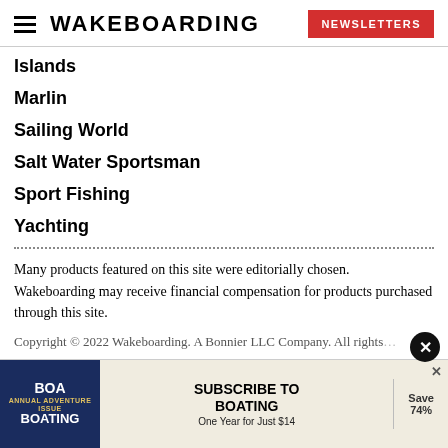WAKEBOARDING | NEWSLETTERS
Islands
Marlin
Sailing World
Salt Water Sportsman
Sport Fishing
Yachting
Many products featured on this site were editorially chosen. Wakeboarding may receive financial compensation for products purchased through this site.
Copyright © 2022 Wakeboarding. A Bonnier LLC Company. All rights reserved. Reproduction in whole or in part without permission is prohibited.
[Figure (screenshot): Advertisement banner: Subscribe to Boating - One Year for Just $14, Save 74%]